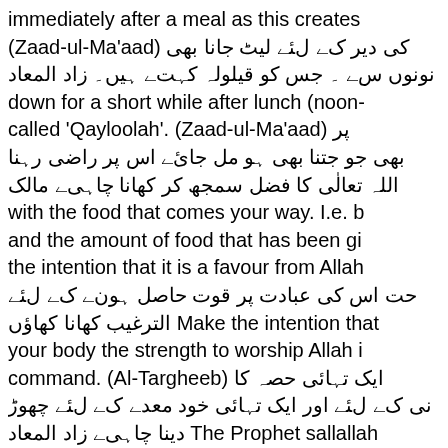immediately after a meal as this creates (Zaad-ul-Ma'aad) کی دیر کے لیے لیٹ جانا بھی کی دیر کے نونوں سے جس کو قیلولہ کہتے ہیں زاد المعاد down for a short while after lunch (noon- called 'Qayloolah'. (Zaad-ul-Ma'aad) پر بھی جو جتنا بھی ہو مل جائے اس پر راضی رہنا اللہ تعالی کا فضل سمجھ کر کھانا چاہیے مالک with the food that comes your way. I.e. b and the amount of food that has been gi the intention that it is a favour from Allah حت اس کی عبادت پر قوت حاصل ہونے کے لیے الترغیب کھانا کھاؤں Make the intention that your body the strength to worship Allah i command. (Al-Targheeb) ایک تہائی حصہ کا ایک تہائی کے لیے اور ایک تہائی خود معدے کے لیے چھوڑ دینا چاہیے زاد المعاد The Prophet sallallah